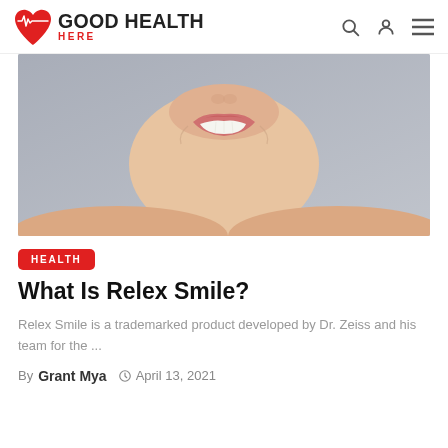GOOD HEALTH HERE
[Figure (photo): Close-up photo of a woman smiling, showing white teeth, neck and bare shoulders against a gray background]
HEALTH
What Is Relex Smile?
Relex Smile is a trademarked product developed by Dr. Zeiss and his team for the ...
By Grant Mya  April 13, 2021